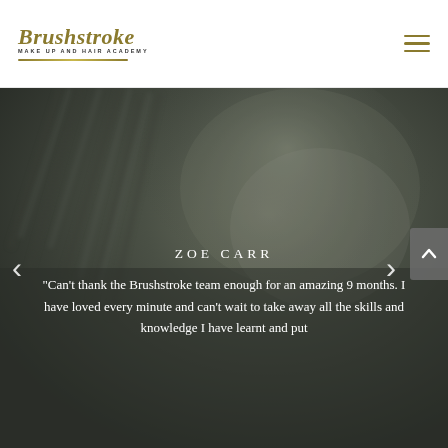[Figure (logo): Brushstroke Make Up and Hair Academy logo with cursive golden text and decorative line]
[Figure (photo): Dark moody close-up photo of a face/hair as background for testimonial slider]
ZOE CARR
“Can't thank the Brushstroke team enough for an amazing 9 months. I have loved every minute and can't wait to take away all the skills and knowledge I have learnt and put